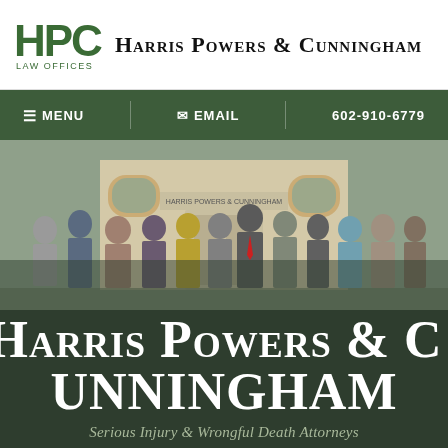[Figure (logo): HPC Law Offices logo with green HPC letters and Harris Powers & Cunningham firm name in small caps]
[Figure (screenshot): Navigation bar with dark green background showing MENU, EMAIL, and phone number 602-910-6779]
[Figure (photo): Group photo of law firm staff standing in front of Harris Powers & Cunningham office building]
Harris Powers & Cunningham
Serious Injury & Wrongful Death Attorneys
CONTACT US